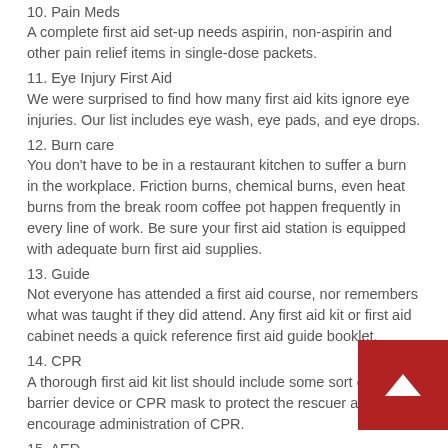10. Pain Meds
A complete first aid set-up needs aspirin, non-aspirin and other pain relief items in single-dose packets.
11. Eye Injury First Aid
We were surprised to find how many first aid kits ignore eye injuries. Our list includes eye wash, eye pads, and eye drops.
12. Burn care
You don't have to be in a restaurant kitchen to suffer a burn in the workplace. Friction burns, chemical burns, even heat burns from the break room coffee pot happen frequently in every line of work. Be sure your first aid station is equipped with adequate burn first aid supplies.
13. Guide
Not everyone has attended a first aid course, nor remembers what was taught if they did attend. Any first aid kit or first aid cabinet needs a quick reference first aid guide booklet.
14. CPR
A thorough first aid kit list should include some sort of CPR barrier device or CPR mask to protect the rescuer and encourage administration of CPR.
15. AED
No, an AED will not fit in your first aid kit, although they do keep